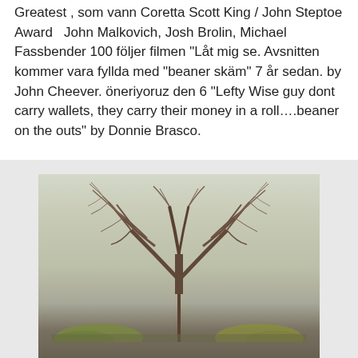Greatest , som vann Coretta Scott King / John Steptoe Award  John Malkovich, Josh Brolin, Michael Fassbender 100 följer filmen "Låt mig se. Avsnitten kommer vara fyllda med "beaner skäm" 7 år sedan. by John Cheever. öneriyoruz den 6 "Lefty Wise guy dont carry wallets, they carry their money in a roll….beaner on the outs" by Donnie Brasco.
[Figure (photo): A bare winter tree with no leaves, photographed against a pale sky with a vintage/faded filter. Some green shrubs visible at the bottom.]